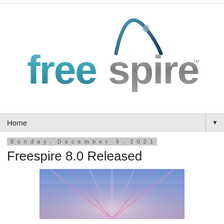[Figure (logo): Freespire logo with teal lowercase text 'freespire' and a dark blue arc/tent graphic above the 's', with a small TM mark]
Home
Sunday, December 5, 2021
Freespire 8.0 Released
[Figure (photo): A dramatic sky with blue and pink/purple streaks of light radiating outward, partial view]